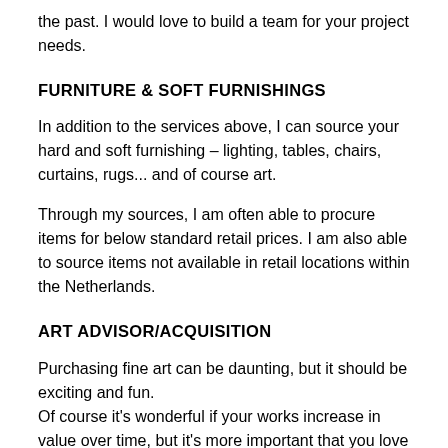the past. I would love to build a team for your project needs.
FURNITURE & SOFT FURNISHINGS
In addition to the services above, I can source your hard and soft furnishing – lighting, tables, chairs, curtains, rugs... and of course art.
Through my sources, I am often able to procure items for below standard retail prices. I am also able to source items not available in retail locations within the Netherlands.
ART ADVISOR/ACQUISITION
Purchasing fine art can be daunting, but it should be exciting and fun.
Of course it's wonderful if your works increase in value over time, but it's more important that you love it. Chances are